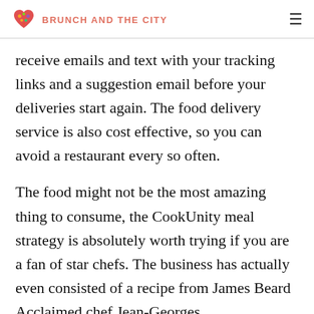BRUNCH AND THE CITY
receive emails and text with your tracking links and a suggestion email before your deliveries start again. The food delivery service is also cost effective, so you can avoid a restaurant every so often.
The food might not be the most amazing thing to consume, the CookUnity meal strategy is absolutely worth trying if you are a fan of star chefs. The business has actually even consisted of a recipe from James Beard Acclaimed chef Jean-Georges.